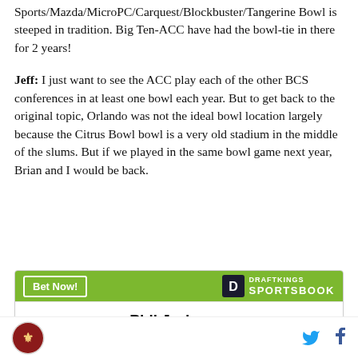Sports/Mazda/MicroPC/Carquest/Blockbuster/Tangerine Bowl is steeped in tradition. Big Ten-ACC have had the bowl-tie in there for 2 years!
Jeff: I just want to see the ACC play each of the other BCS conferences in at least one bowl each year. But to get back to the original topic, Orlando was not the ideal bowl location largely because the Citrus Bowl bowl is a very old stadium in the middle of the slums. But if we played in the same bowl game next year, Brian and I would be back.
[Figure (other): DraftKings Sportsbook advertisement widget with green header containing 'Bet Now!' button and DraftKings Sportsbook logo, and white body showing 'Phil Jurkovec']
SBNation logo, Twitter icon, Facebook icon